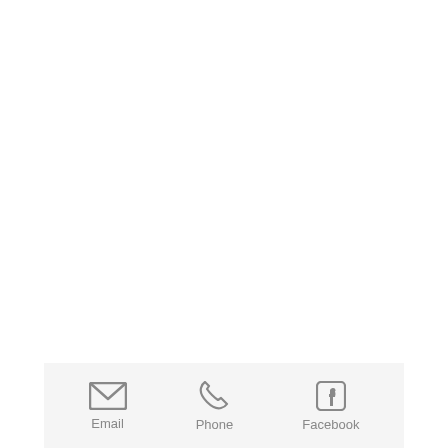[Figure (other): A bottom navigation/contact bar with three icons and labels: Email (envelope icon), Phone (telephone handset icon), Facebook (Facebook 'f' logo icon). All in grey on a light grey background.]